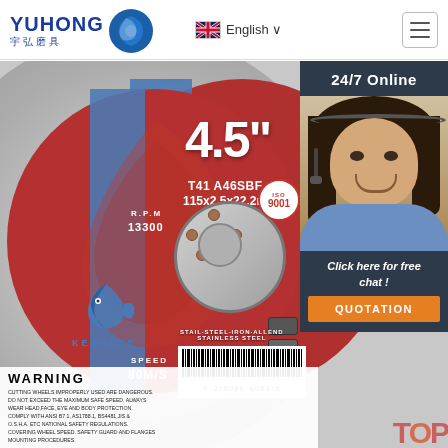[Figure (logo): YUHONG 宇弘磨具 logo with blue swirl icon]
English ∨
[Figure (photo): Product photo of a KEENDEE 4.5 inch cutting/grinding wheel disc (T41 A46SBF, 115x2.5x22.2mm, R.P.M 13300, SPEED 80M/S) with red disc face, blue stripe, ISO 9001 badge, barcode 6210906 000378, WARNING text, STAINLESS STEEL label. Overlaid sidebar shows 24/7 Online customer service agent photo with Click here for free chat! and QUOTATION button in orange.]